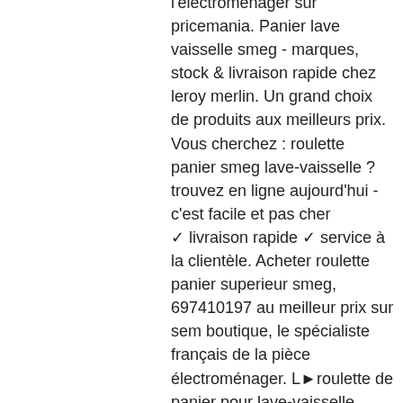l'electromenager sur pricemania. Panier lave vaisselle smeg - marques, stock &amp; livraison rapide chez leroy merlin. Un grand choix de produits aux meilleurs prix. Vous cherchez : roulette panier smeg lave-vaisselle ? trouvez en ligne aujourd'hui - c'est facile et pas cher ✓ livraison rapide ✓ service à la clientèle. Acheter roulette panier superieur smeg, 697410197 au meilleur prix sur sem boutique, le spécialiste français de la pièce électroménager. L►roulette de panier pour lave-vaisselle smeg ✓roulette de panier en stock ✓livraison 48h ✓garantie 24 mois ✓prix cassés. 697410042 roulette de panier supérieur pour lave vaisselle. Roulette de panier superieur lave vaisselle, smeg. Roulette lave vaisselle pour smeg, whirlpool 1 pièce. Roulette de panier supérieur 697410197 pour lave vaisselle smeg. Roulette de panier supérieur 697410197 pour lave vaisselle smeg Roulette de panier smeg pour lave vaisselle